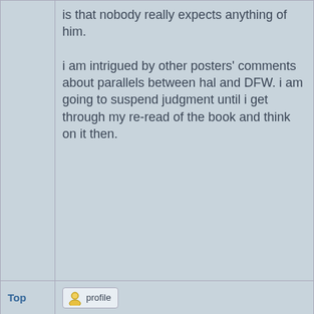is that nobody really expects anything of him.

i am intrigued by other posters' comments about parallels between hal and DFW. i am going to suspend judgment until i get through my re-read of the book and think on it then.
Top
[Figure (illustration): Profile button with user icon and 'profile' label]